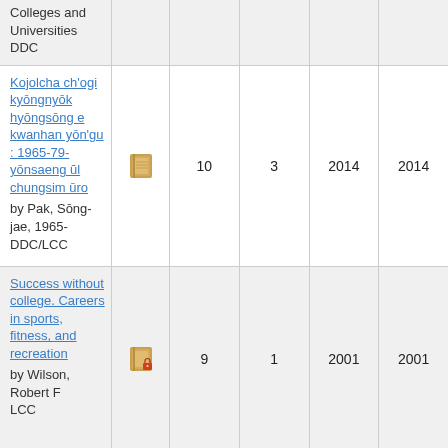| Title | Icon | Count1 | Count2 | Year1 | Year2 |
| --- | --- | --- | --- | --- | --- |
| Colleges and Universities
DDC |  |  |  |  |  |
| Kojolcha ch'ogi kyōngnyōk hyōngsōng e kwanhan yōn'gu : 1965-79-yōnsaeng ŭl chungsim ūro
by Pak, Sōng-jae, 1965-
DDC/LCC | book-icon | 10 | 3 | 2014 | 2014 |
| Success without college. Careers in sports, fitness, and recreation
by Wilson, Robert F
LCC | book-icon-lock | 9 | 1 | 2001 | 2001 |
| Value-orientations, social structure |  |  |  |  |  |